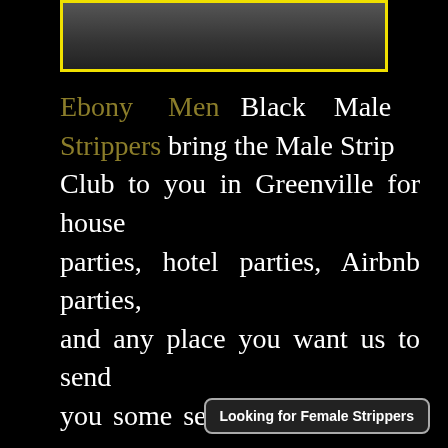[Figure (photo): Photo of a man in a white suit with a gold watch, shown cropped at torso level, with a yellow border frame]
Ebony Men Black Male Strippers bring the Male Strip Club to you in Greenville for house parties, hotel parties, Airbnb parties, and any place you want us to send you some sexy strippers! So if your looking to hire a black male stripper for Bachelorette Parties, Birthday Parties, Divorce Parties, or just a fun Lady's Night in with the girls then you've come to the right place few clicks away
Looking for Female Strippers